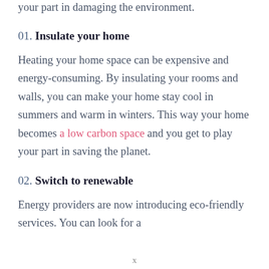your part in damaging the environment.
01. Insulate your home
Heating your home space can be expensive and energy-consuming. By insulating your rooms and walls, you can make your home stay cool in summers and warm in winters. This way your home becomes a low carbon space and you get to play your part in saving the planet.
02. Switch to renewable
Energy providers are now introducing eco-friendly services. You can look for a
x